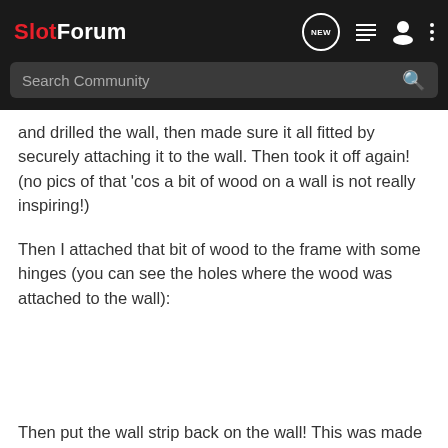SlotForum — Search Community
and drilled the wall, then made sure it all fitted by securely attaching it to the wall. Then took it off again! (no pics of that 'cos a bit of wood on a wall is not really inspiring!)
Then I attached that bit of wood to the frame with some hinges (you can see the holes where the wood was attached to the wall):
[Figure (photo): Empty white space where a photo would appear]
Then put the wall strip back on the wall! This was made much easier by the fact I had put it on once already!